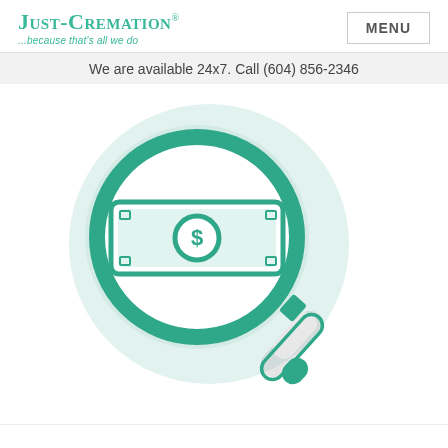Just-Cremation® ...because that's all we do | MENU
We are available 24x7. Call (604) 856-2346
[Figure (illustration): A magnifying glass icon with a dollar bill/banknote inside the lens, rendered in teal/green flat illustration style on a light mint circular background. The magnifying glass has a dark teal outline, white and teal handle, and a teal-bordered banknote with a dollar sign circle in the center.]